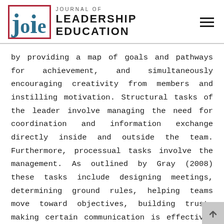Journal of Leadership Education
by providing a map of goals and pathways for achievement, and simultaneously encouraging creativity from members and instilling motivation. Structural tasks of the leader involve managing the need for coordination and information exchange directly inside and outside the team. Furthermore, processual tasks involve the management. As outlined by Gray (2008) these tasks include designing meetings, determining ground rules, helping teams move toward objectives, building trust, making certain communication is effective, attaining buy-in, and managing conflict.
Key themes have also been identified in regards to the environment of interdisciplinary research – tendencies